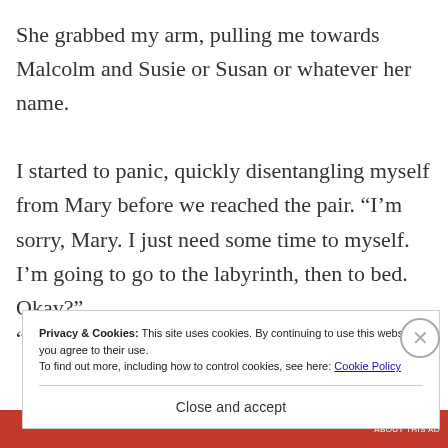She grabbed my arm, pulling me towards Malcolm and Susie or Susan or whatever her name.
I started to panic, quickly disentangling myself from Mary before we reached the pair. “I’m sorry, Mary. I just need some time to myself. I’m going to the labyrinth, then to bed. Okay?”
“
Privacy & Cookies: This site uses cookies. By continuing to use this website, you agree to their use. To find out more, including how to control cookies, see here: Cookie Policy
Close and accept